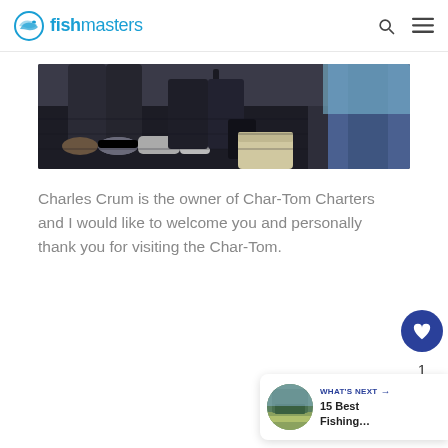fishmasters
[Figure (photo): Photo showing feet and legs of people standing on a dark mat on a boat deck, with one person in jeans visible on the right side]
Charles Crum is the owner of Char-Tom Charters and I would like to welcome you and personally thank you for visiting the Char-Tom.